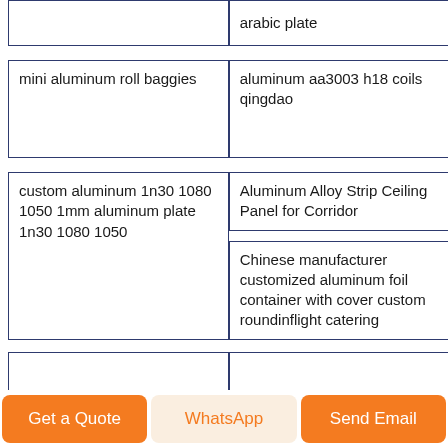|  | arabic plate |
| mini aluminum roll baggies | aluminum aa3003 h18 coils qingdao |
| custom aluminum 1n30 1080 1050 1mm aluminum plate 1n30 1080 1050 | Aluminum Alloy Strip Ceiling Panel for Corridor |
|  | Chinese manufacturer customized aluminum foil container with cover custom roundinflight catering |
|  |  |
Get a Quote
WhatsApp
Send Email